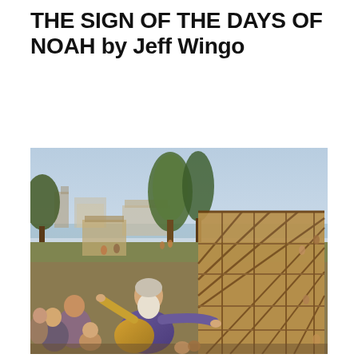THE SIGN OF THE DAYS OF NOAH by Jeff Wingo
[Figure (illustration): A classical oil painting depicting Noah gesturing with outstretched arms, a white-bearded elderly man in purple and yellow robes, surrounded by people, with a large wooden ark under construction in the background, trees, classical architecture buildings, and a landscape with water in the distance.]